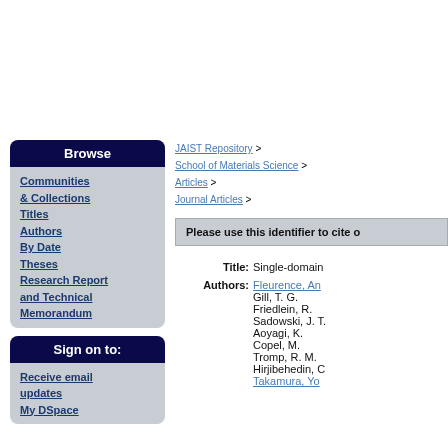Browse
Communities & Collections
Titles
Authors
By Date
Theses
Research Report and Technical Memorandum
Sign on to:
Receive email updates
My DSpace
JAIST Repository > School of Materials Science > Articles > Journal Articles >
Please use this identifier to cite o
| Field | Value |
| --- | --- |
| Title: | Single-domain |
| Authors: | Fleurence, An
Gill, T. G.
Friedlein, R.
Sadowski, J. T.
Aoyagi, K.
Copel, M.
Tromp, R. M.
Hirjibehedin, C
Takamura, Yo |